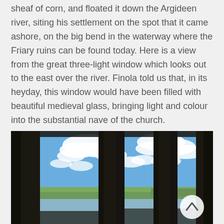sheaf of corn, and floated it down the Argideen river, siting his settlement on the spot that it came ashore, on the big bend in the waterway where the Friary ruins can be found today. Here is a view from the great three-light window which looks out to the east over the river. Finola told us that, in its heyday, this window would have been filled with beautiful medieval glass, bringing light and colour into the substantial nave of the church.
[Figure (photo): View through a medieval three-light stone window looking out over a river and green landscape with blue sky and clouds. The dark stone mullions of the window frame the scene in three sections.]